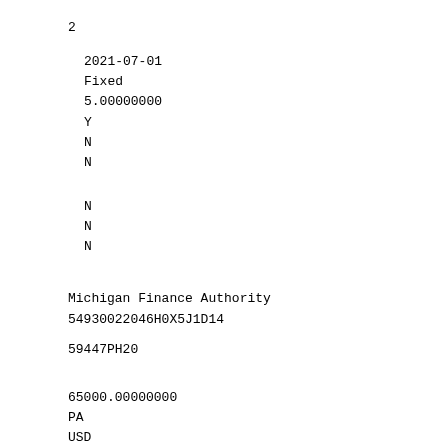2
2021-07-01
Fixed
5.00000000
Y
N
N
N
N
N
Michigan Finance Authority
54930022046H0X5J1D14
59447PH20
65000.00000000
PA
USD
68577.68000000
0.040156780388
Long